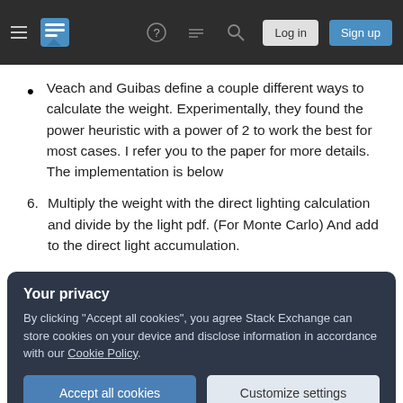Stack Exchange navigation bar with hamburger menu, logo, help, chat, search icons, Log in and Sign up buttons
Veach and Guibas define a couple different ways to calculate the weight. Experimentally, they found the power heuristic with a power of 2 to work the best for most cases. I refer you to the paper for more details. The implementation is below
6. Multiply the weight with the direct lighting calculation and divide by the light pdf. (For Monte Carlo) And add to the direct light accumulation.
Your privacy
By clicking "Accept all cookies", you agree Stack Exchange can store cookies on your device and disclose information in accordance with our Cookie Policy.
Accept all cookies | Customize settings